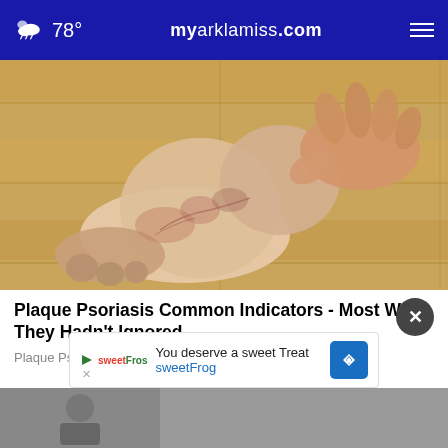78° myarklamiss.com
[Figure (photo): Close-up photo of a human foot and ankle with dry, scaly, reddened skin consistent with psoriasis, being held by a hand, on a wooden floor background.]
Plaque Psoriasis Common Indicators - Most Wish They Hadn't Ignored
Plaque Psoriasis
[Figure (photo): Partial image of another article or advertisement at the bottom of the page, partially visible.]
You deserve a sweet Treat sweetFrog